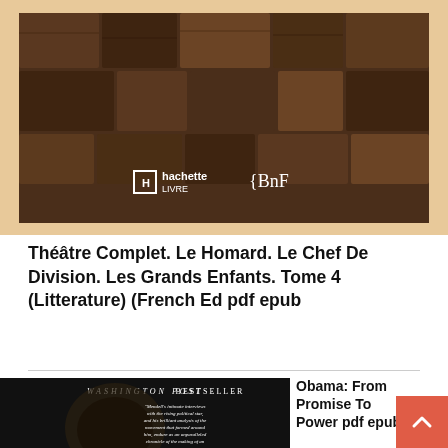[Figure (photo): Book cover image for 'Théâtre Complet' featuring a brown background resembling stacked books/boxes, with Hachette Livre and BnF logos at the bottom center]
Théâtre Complet. Le Homard. Le Chef De Division. Les Grands Enfants. Tome 4 (Litterature) (French Ed pdf epub
[Figure (photo): Book cover for 'Obama: From Promise To Power' — Washington Post Bestseller, dark background with photo of Obama smiling, blurb text from Evan Osnos]
Obama: From Promise To Power pdf epub